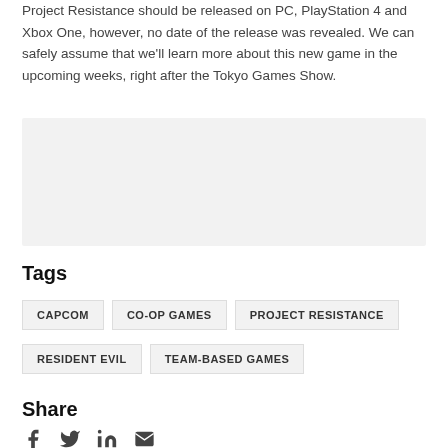Project Resistance should be released on PC, PlayStation 4 and Xbox One, however, no date of the release was revealed. We can safely assume that we'll learn more about this new game in the upcoming weeks, right after the Tokyo Games Show.
[Figure (other): Advertisement or placeholder gray box]
Tags
CAPCOM
CO-OP GAMES
PROJECT RESISTANCE
RESIDENT EVIL
TEAM-BASED GAMES
Share
[Figure (infographic): Social share icons: Facebook, Twitter, LinkedIn, Email]